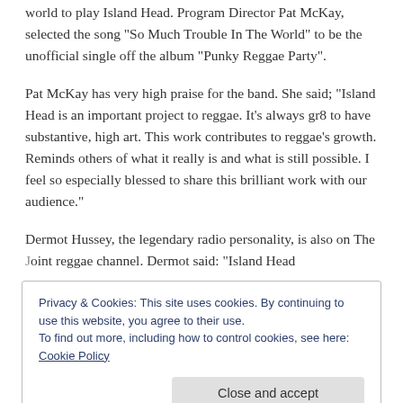world to play Island Head. Program Director Pat McKay, selected the song “So Much Trouble In The World” to be the unofficial single off the album “Punky Reggae Party”.
Pat McKay has very high praise for the band. She said; “Island Head is an important project to reggae. It’s always gr8 to have substantive, high art. This work contributes to reggae’s growth. Reminds others of what it really is and what is still possible. I feel so especially blessed to share this brilliant work with our audience.”
Dermot Hussey, the legendary radio personality, is also on The Joint reggae channel. Dermot said: “Island Head...
Privacy & Cookies: This site uses cookies. By continuing to use this website, you agree to their use.
To find out more, including how to control cookies, see here: Cookie Policy
Close and accept
praise.